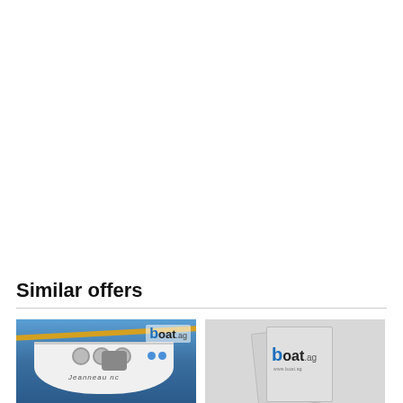Similar offers
[Figure (photo): Photo of a boat transom viewed from behind, showing the stern with winches and controls, blue sky background, with boat.ag watermark logo in top right corner]
[Figure (illustration): Placeholder image showing two overlapping cards/documents with boat.ag logo on them, on a light grey background]